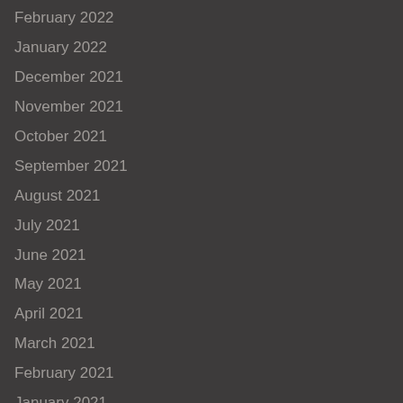February 2022
January 2022
December 2021
November 2021
October 2021
September 2021
August 2021
July 2021
June 2021
May 2021
April 2021
March 2021
February 2021
January 2021
December 2020
November 2020
October 2020
September 2020